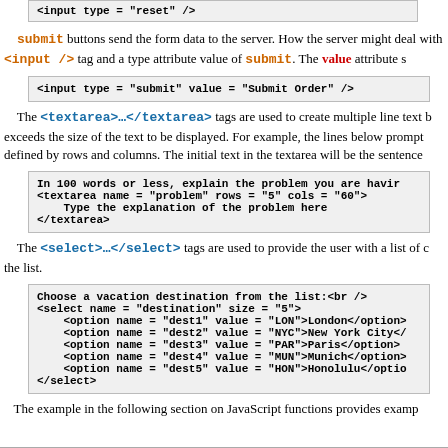<input type = "reset" />
submit buttons send the form data to the server. How the server might deal with <input /> tag and a type attribute value of submit. The value attribute s
<input type = "submit" value = "Submit Order" />
The <textarea>...</textarea> tags are used to create multiple line text b exceeds the size of the text to be displayed. For example, the lines below prompt defined by rows and columns. The initial text in the textarea will be the sentence
In 100 words or less, explain the problem you are havin
<textarea name = "problem" rows = "5" cols = "60">
    Type the explanation of the problem here
</textarea>
The <select>...</select> tags are used to provide the user with a list of choices. the list.
Choose a vacation destination from the list:<br />
<select name = "destination" size = "5">
    <option name = "dest1" value = "LON">London</option>
    <option name = "dest2" value = "NYC">New York City</
    <option name = "dest3" value = "PAR">Paris</option>
    <option name = "dest4" value = "MUN">Munich</option>
    <option name = "dest5" value = "HON">Honolulu</optio
</select>
The example in the following section on JavaScript functions provides examp